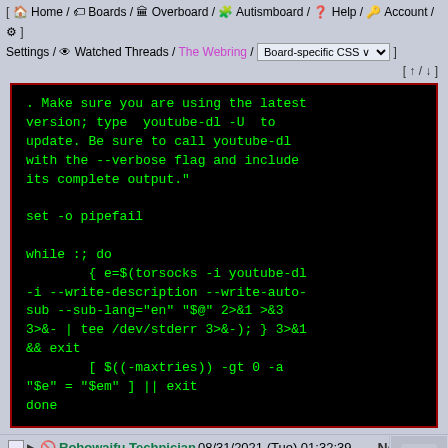[ Home / Boards / Overboard / Autismboard / Help / Account / Settings / Watched Threads / The Webring / Board-specific CSS ] [ ↑ / ↓ ]
[Figure (screenshot): Terminal/code block with green text on black background showing shell script code for youtube-dl with torsocks]
Robowaifu Technician 08/31/2021 (Tue) 01:32:39 No.12710
Here's a video with an overview of the available technologies needed to build humanoid robots. With examples from more task orient robots which are not all